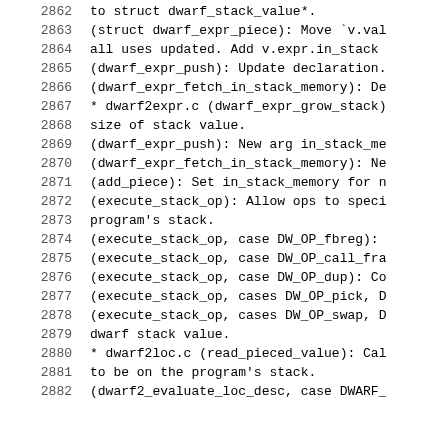2862    to struct dwarf_stack_value*.
2863    (struct dwarf_expr_piece): Move `v.val
2864    all uses updated.  Add v.expr.in_stack
2865    (dwarf_expr_push): Update declaration.
2866    (dwarf_expr_fetch_in_stack_memory): De
2867    * dwarf2expr.c (dwarf_expr_grow_stack)
2868    size of stack value.
2869    (dwarf_expr_push): New arg in_stack_me
2870    (dwarf_expr_fetch_in_stack_memory): Ne
2871    (add_piece): Set in_stack_memory for n
2872    (execute_stack_op): Allow ops to speci
2873    program's stack.
2874    (execute_stack_op, case DW_OP_fbreg):
2875    (execute_stack_op, case DW_OP_call_fra
2876    (execute_stack_op, case DW_OP_dup): Co
2877    (execute_stack_op, cases DW_OP_pick, D
2878    (execute_stack_op, cases DW_OP_swap, D
2879    dwarf stack value.
2880    * dwarf2loc.c (read_pieced_value): Cal
2881    to be on the program's stack.
2882    (dwarf2_evaluate_loc_desc, case DWARF_